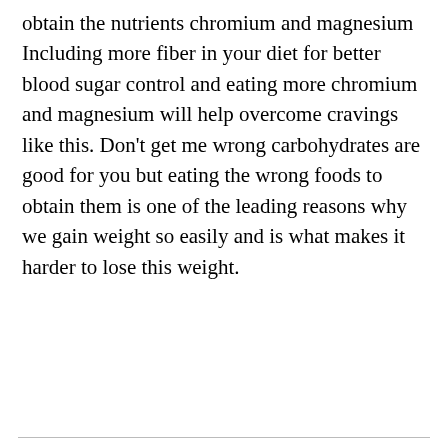obtain the nutrients chromium and magnesium Including more fiber in your diet for better blood sugar control and eating more chromium and magnesium will help overcome cravings like this. Don't get me wrong carbohydrates are good for you but eating the wrong foods to obtain them is one of the leading reasons why we gain weight so easily and is what makes it harder to lose this weight.